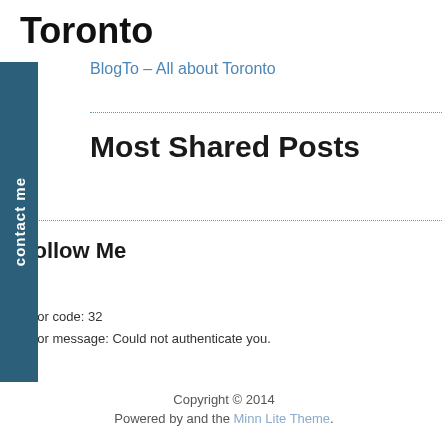Toronto
BlogTo – All about Toronto
Most Shared Posts
Follow Me
Error code: 32
Error message: Could not authenticate you.
Copyright © 2014
Powered by and the Minn Lite Theme.